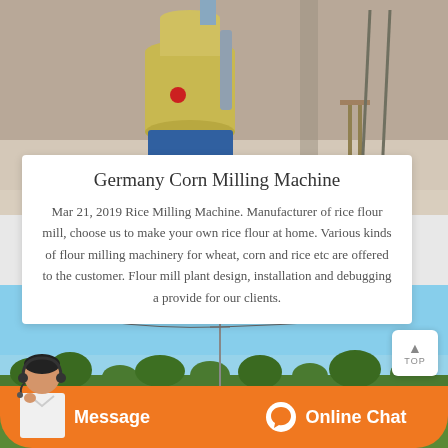[Figure (photo): Industrial corn/rice milling machine in a workshop setting, yellowish machine body with blue base]
Germany Corn Milling Machine
Mar 21, 2019 Rice Milling Machine. Manufacturer of rice flour mill, choose us to make your own rice flour at home. Various kinds of flour milling machinery for wheat, corn and rice etc are offered to the customer. Flour mill plant design, installation and debugging are provide for our clients.
[Figure (photo): Green agricultural field under blue sky with power lines visible]
[Figure (photo): Customer service representative wearing headset]
Message
Online Chat